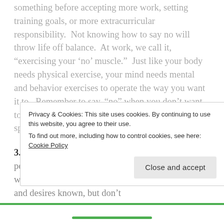something before accepting more work, setting training goals, or more extracurricular responsibility.  Not knowing how to say no will throw life off balance.  At work, we call it, "exercising your 'no' muscle."  Just like your body needs physical exercise, your mind needs mental and behavior exercises to operate the way you want it to.  Remember to say, “no” when you don’t want to do something.  If you really don’t like something, speak up!  Its even okay to vehemently say no.
3. Be patient, but persistent. Patience and persistence will pay off.  If things aren’t going your way don’t try to force them.  Make your presence and desires known, but don’t
Privacy & Cookies: This site uses cookies. By continuing to use this website, you agree to their use.
To find out more, including how to control cookies, see here: Cookie Policy